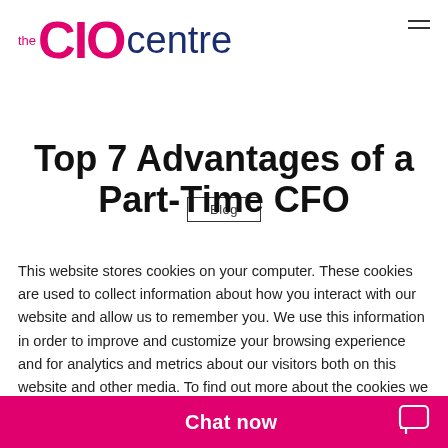the CIO centre
Blog
Top 7 Advantages of a Part-Time CFO
This website stores cookies on your computer. These cookies are used to collect information about how you interact with our website and allow us to remember you. We use this information in order to improve and customize your browsing experience and for analytics and metrics about our visitors both on this website and other media. To find out more about the cookies we use, see our Privacy Policy
Cookie Settings
Accept All
Chat now